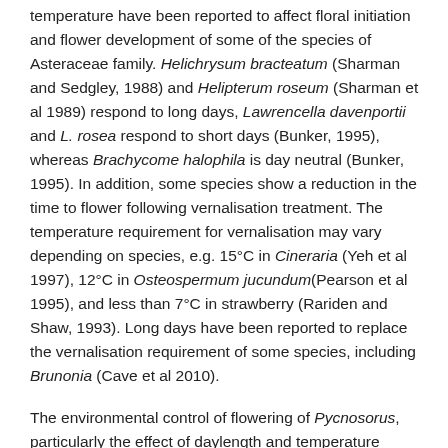temperature have been reported to affect floral initiation and flower development of some of the species of Asteraceae family. Helichrysum bracteatum (Sharman and Sedgley, 1988) and Helipterum roseum (Sharman et al 1989) respond to long days, Lawrencella davenportii and L. rosea respond to short days (Bunker, 1995), whereas Brachycome halophila is day neutral (Bunker, 1995). In addition, some species show a reduction in the time to flower following vernalisation treatment. The temperature requirement for vernalisation may vary depending on species, e.g. 15°C in Cineraria (Yeh et al 1997), 12°C in Osteospermum jucundum(Pearson et al 1995), and less than 7°C in strawberry (Rariden and Shaw, 1993). Long days have been reported to replace the vernalisation requirement of some species, including Brunonia (Cave et al 2010).
The environmental control of flowering of Pycnosorus, particularly the effect of daylength and temperature regimes are reported in this study. Pycnosorus seeds were treated with